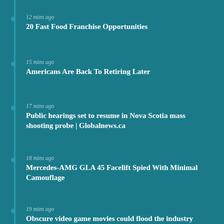12 mins ago
20 Fast Food Franchise Opportunities
15 mins ago
Americans Are Back To Retiring Later
17 mins ago
Public hearings set to resume in Nova Scotia mass shooting probe | Globalnews.ca
18 mins ago
Mercedes-AMG GLA 45 Facelift Spied With Minimal Camouflage
19 mins ago
Obscure video game movies could flood the industry following Sonic's success
20 mins ago
I want to share with you some points about Risk Management for BINANCE:BTCUSDTPERP by TradeandGrow
24 mins ago